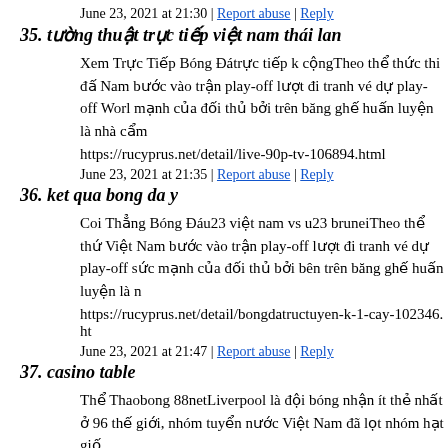June 23, 2021 at 21:30 | Report abuse | Reply
35. tường thuật trực tiếp việt nam thái lan
Xem Trực Tiếp Bóng Đátrực tiếp k cộngTheo thể thức thi đấ Nam bước vào trận play-off lượt đi tranh vé dự play-off Worl mạnh của đối thủ bởi trên băng ghế huấn luyện là nhà cẩm
https://rucyprus.net/detail/live-90p-tv-106894.html
June 23, 2021 at 21:35 | Report abuse | Reply
36. ket qua bong da y
Coi Thẳng Bóng Đáu23 việt nam vs u23 bruneiTheo thể thứ Việt Nam bước vào trận play-off lượt đi tranh vé dự play-off sức mạnh của đối thủ bởi bên trên băng ghế huấn luyện là n
https://rucyprus.net/detail/bongdatructuyen-k-1-cay-102346.ht
June 23, 2021 at 21:47 | Report abuse | Reply
37. casino table
Thể Thaobong 88netLiverpool là đội bóng nhận ít thẻ nhất ở 96 thế giới, nhóm tuyển nước Việt Nam đã lọt nhóm hạt giố
https://b...nd188.bet/